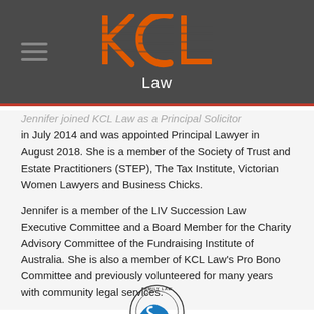[Figure (logo): KCL Law logo with orange striped K, C, L letters and white 'Law' text on dark grey background]
Jennifer joined KCL Law as a Principal Solicitor in July 2014 and was appointed Principal Lawyer in August 2018. She is a member of the Society of Trust and Estate Practitioners (STEP), The Tax Institute, Victorian Women Lawyers and Business Chicks.
Jennifer is a member of the LIV Succession Law Executive Committee and a Board Member for the Charity Advisory Committee of the Fundraising Institute of Australia. She is also a member of KCL Law's Pro Bono Committee and previously volunteered for many years with community legal services.
[Figure (logo): Family Law section badge/seal - circular logo with blue and white design]